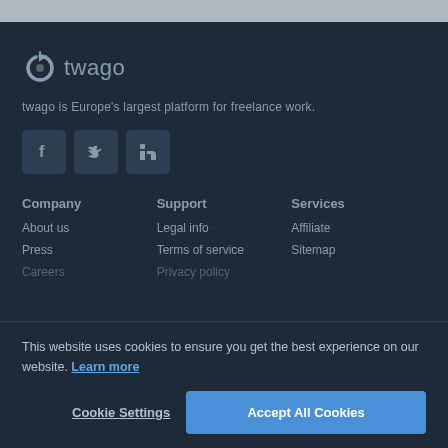[Figure (logo): twago logo with circular arrow icon and wordmark 'twago']
twago is Europe's largest platform for freelance work.
[Figure (infographic): Social media icon buttons: Facebook, Twitter, LinkedIn]
Company
Support
Services
About us
Legal info
Affiliate
Press
Terms of service
Sitemap
This website uses cookies to ensure you get the best experience on our website. Learn more
Cookie Settings
Accept All Cookies